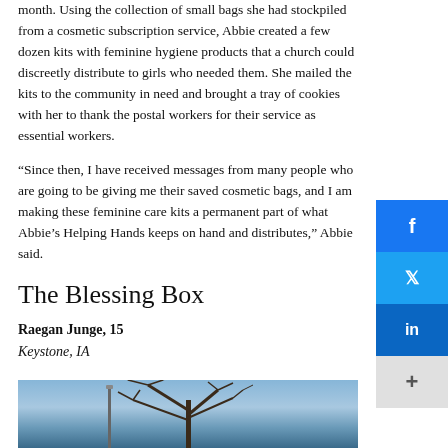month. Using the collection of small bags she had stockpiled from a cosmetic subscription service, Abbie created a few dozen kits with feminine hygiene products that a church could discreetly distribute to girls who needed them. She mailed the kits to the community in need and brought a tray of cookies with her to thank the postal workers for their service as essential workers.
“Since then, I have received messages from many people who are going to be giving me their saved cosmetic bags, and I am making these feminine care kits a permanent part of what Abbie’s Helping Hands keeps on hand and distributes,” Abbie said.
The Blessing Box
Raegan Junge, 15
Keystone, IA
[Figure (photo): Outdoor photo showing a bare winter tree against a blue sky with buildings visible in the background]